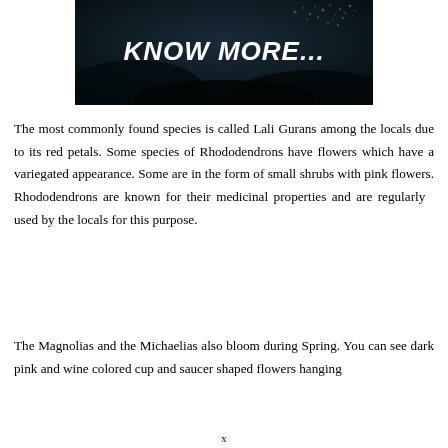[Figure (photo): Dark background image with text 'KNOW MORE...' in bold white italic font over what appears to be a dark nature or forest scene.]
The most commonly found species is called Lali Gurans among the locals due to its red petals. Some species of Rhododendrons have flowers which have a variegated appearance. Some are in the form of small shrubs with pink flowers. Rhododendrons are known for their medicinal properties and are regularly  used by the locals for this purpose.
The Magnolias and the Michaelias also bloom during Spring. You can see dark pink and wine colored cup and saucer shaped flowers hanging
x